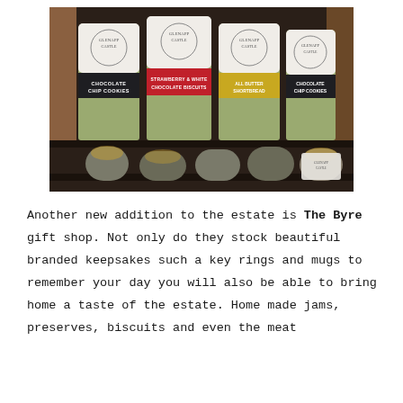[Figure (photo): Photograph of Glenapp Castle branded tin canisters on a shelf. Four tall cylindrical tins are visible on the upper shelf, each with white Glenapp Castle logos and colored label bands: black band reading 'Chocolate Chip Cookies', red band reading 'Strawberry & White Chocolate Biscuits', gold/yellow band, and a black band reading 'Chocolate Chip Cookies'. A lower shelf shows smaller open tins. The background is dark wood shelving.]
Another new addition to the estate is The Byre gift shop. Not only do they stock beautiful branded keepsakes such a key rings and mugs to remember your day you will also be able to bring home a taste of the estate. Home made jams, preserves, biscuits and even the meat